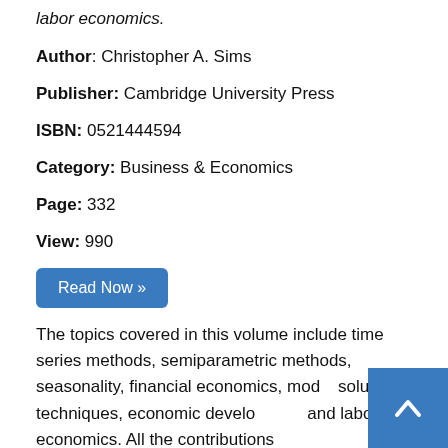labor economics.
Author: Christopher A. Sims
Publisher: Cambridge University Press
ISBN: 0521444594
Category: Business & Economics
Page: 332
View: 990
Read Now »
The topics covered in this volume include time series methods, semiparametric methods, seasonality, financial economics, mod... solution techniques, economic develo... and labor economics. All the contributions